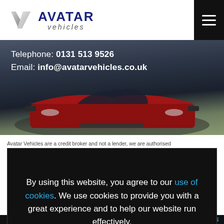[Figure (logo): Avatar Vehicles logo with stylized AV chevron mark in silver/grey and navy blue AVATAR vehicles text]
[Figure (photo): Red sports car driving on a mountain road, viewed from front-overhead angle, dark moody sky and hillside in background]
Telephone: 0131 513 9526
Email: info@avatarvehicles.co.uk
Avatar Vehicles are a credit broker and not a lender, we are authorised
By using this website, you agree to our use of cookies. We use cookies to provide you with a great experience and to help our website run effectively.
Agree
Designed and Developed by DES